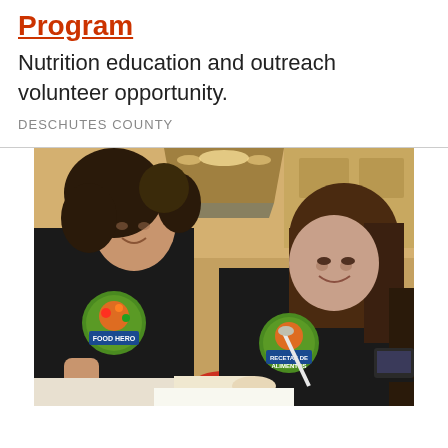Program
Nutrition education and outreach volunteer opportunity.
DESCHUTES COUNTY
[Figure (photo): Two women wearing black aprons with food program logos preparing food together in a kitchen setting. One has curly dark hair, the other has straight brown hair. Kitchen appliances visible in background.]